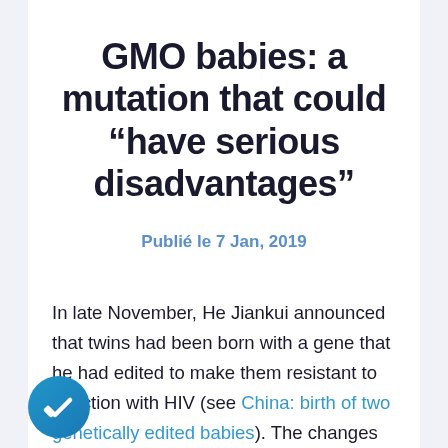GMO babies: a mutation that could “have serious disadvantages”
Publié le 7 Jan, 2019
In late November, He Jiankui announced that twins had been born with a gene that he had edited to make them resistant to infection with HIV (see China: birth of two genetically edited babies). The changes